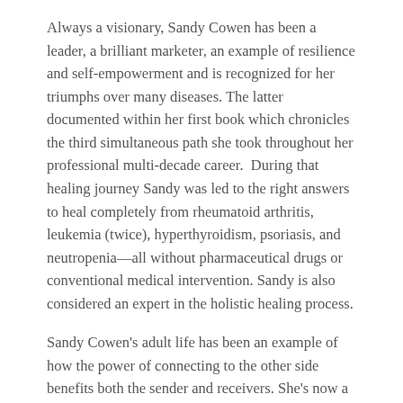Always a visionary, Sandy Cowen has been a leader, a brilliant marketer, an example of resilience and self-empowerment and is recognized for her triumphs over many diseases. The latter documented within her first book which chronicles the third simultaneous path she took throughout her professional multi-decade career.  During that healing journey Sandy was led to the right answers to heal completely from rheumatoid arthritis, leukemia (twice), hyperthyroidism, psoriasis, and neutropenia—all without pharmaceutical drugs or conventional medical intervention. Sandy is also considered an expert in the holistic healing process.
Sandy Cowen's adult life has been an example of how the power of connecting to the other side benefits both the sender and receivers. She's now a committed messenger for souls, an author and speaker; and an empowerment coach who helps others with their spiritual growth and their personal healing. Although Sandy is clairaudient, she prefers to be referred to as a Spiritual Secretary or Scribe as opposed to a traditional, commercial medium. Sandy also writes a weekly blog that can be found on her website: